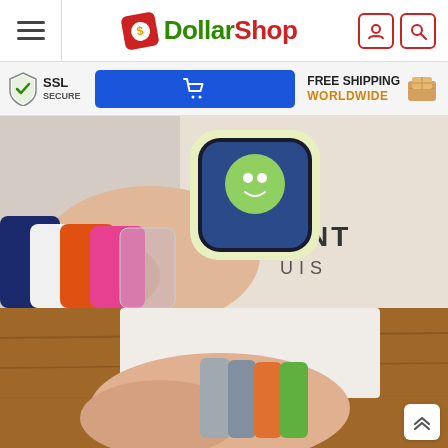[Figure (logo): DollarShop e-commerce website header with hamburger menu, DollarShop logo (green 'Dollar' red 'Shop' with red tag icon), user icon and search icon buttons]
[Figure (infographic): Banner row with SSL Secure badge, blue shopping cart button, and Free Shipping Worldwide text with box icon]
[Figure (photo): Hand holding a light yellow/green Apple Watch with cute cartoon character on screen, colorful watch bands (navy, white, orange, pink, clear) laid on Louis Vuitton paper background]
[Figure (photo): Hand holding multiple colorful Apple Watch bands on a wooden surface, showing various colors including gray, orange, green]